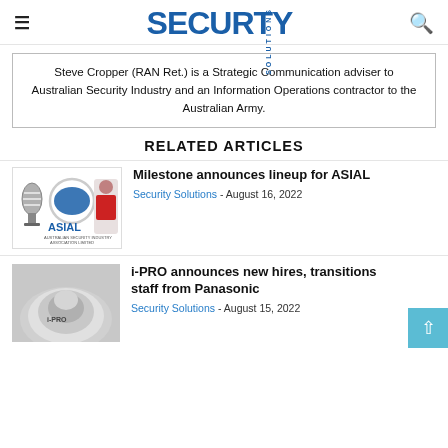SECURITY SOLUTIONS
Steve Cropper (RAN Ret.) is a Strategic Communication adviser to Australian Security Industry and an Information Operations contractor to the Australian Army.
RELATED ARTICLES
[Figure (logo): ASIAL logo with microphone and woman image]
Milestone announces lineup for ASIAL
Security Solutions - August 16, 2022
[Figure (photo): i-PRO dome camera]
i-PRO announces new hires, transitions staff from Panasonic
Security Solutions - August 15, 2022